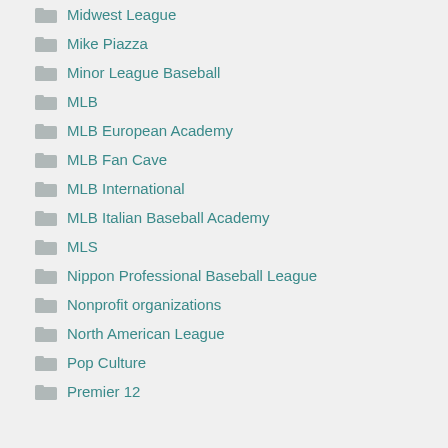Midwest League
Mike Piazza
Minor League Baseball
MLB
MLB European Academy
MLB Fan Cave
MLB International
MLB Italian Baseball Academy
MLS
Nippon Professional Baseball League
Nonprofit organizations
North American League
Pop Culture
Premier 12